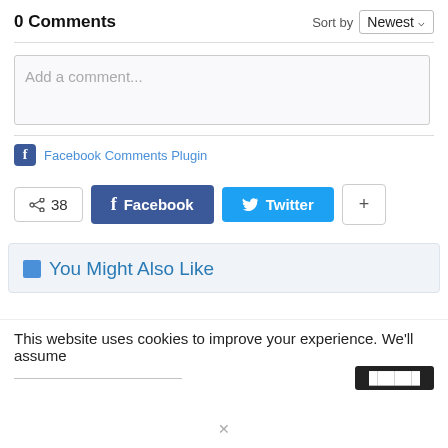0 Comments
Sort by Newest
Add a comment...
Facebook Comments Plugin
38
Facebook
Twitter
+
You Might Also Like
This website uses cookies to improve your experience. We'll assume